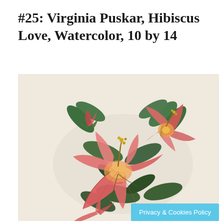#25: Virginia Puskar, Hibiscus Love, Watercolor, 10 by 14
[Figure (illustration): Watercolor painting of hibiscus flowers with red and pink blooms, yellow stamens, and green leaves against a light cream/beige background. Multiple hibiscus flowers at various stages, painted in a realistic watercolor style.]
Privacy & Cookies Policy